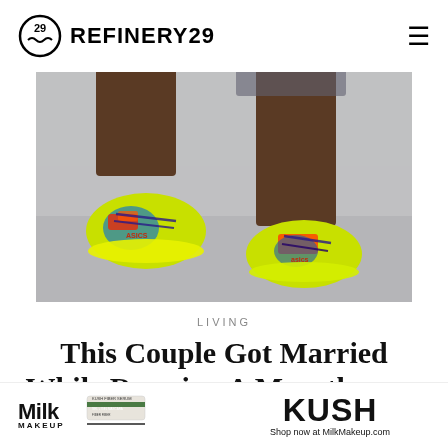REFINERY29
[Figure (photo): Close-up photo of a runner's feet wearing colorful neon green, orange, blue ASICS running shoes on pavement, mid-stride.]
LIVING
This Couple Got Married While Running A Marathon — No, REALLY
ALLY HICKSON   OCTOBER 14, 2015 8:40 PM
[Figure (advertisement): Milk Makeup Kush mascara advertisement with product image and text 'Shop now at MilkMakeup.com']